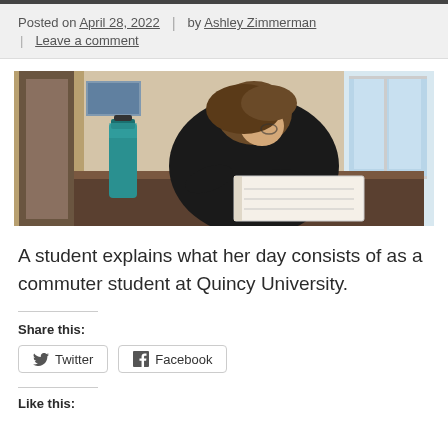Posted on April 28, 2022 | by Ashley Zimmerman | Leave a comment
[Figure (photo): A student in a black jacket leaning over a desk writing in a notebook, with a teal water bottle beside her. Room has a window in the background.]
A student explains what her day consists of as a commuter student at Quincy University.
Share this:
Twitter
Facebook
Like this: